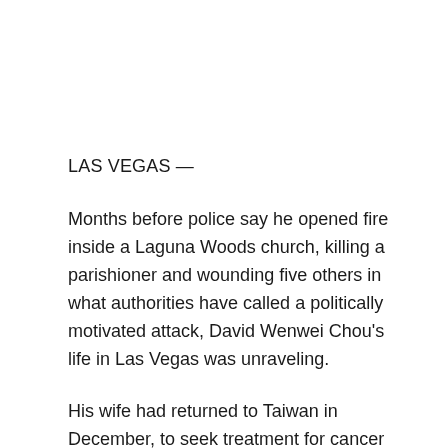LAS VEGAS —
Months before police say he opened fire inside a Laguna Woods church, killing a parishioner and wounding five others in what authorities have called a politically motivated attack, David Wenwei Chou's life in Las Vegas was unraveling.
His wife had returned to Taiwan in December, to seek treatment for cancer but also to leave Chou in the midst of a divorce, according to their next-door neighbor, Balmore Orellana.